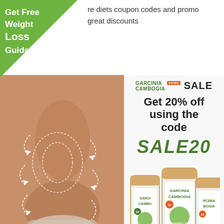re diets coupon codes and promo great discounts
[Figure (illustration): Green triangle badge in top-left corner with text 'Get Free Weight Loss Guide']
[Figure (photo): Photo of a slim female torso with white dashed arrows and body contouring lines overlaid, wearing white underwear, with Garcinia Cambogia supplement bottles and raspberries in the right panel. Right panel shows: GARCINIA CAMBOGIA EXTRA SALE, Get 20% off using the code SALE20, three product bottles, TrustedSite Certified Secure badge.]